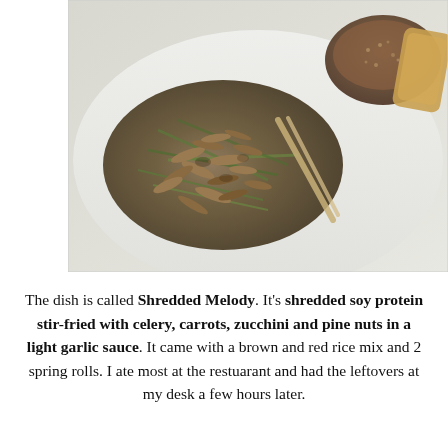[Figure (photo): A plate of Shredded Melody dish showing stir-fried shredded soy protein with celery, carrots, zucchini and pine nuts in a light garlic sauce. In the background there is a brown and red rice mix and spring rolls on a white plate.]
The dish is called Shredded Melody. It's shredded soy protein stir-fried with celery, carrots, zucchini and pine nuts in a light garlic sauce. It came with a brown and red rice mix and 2 spring rolls. I ate most at the restuarant and had the leftovers at my desk a few hours later.